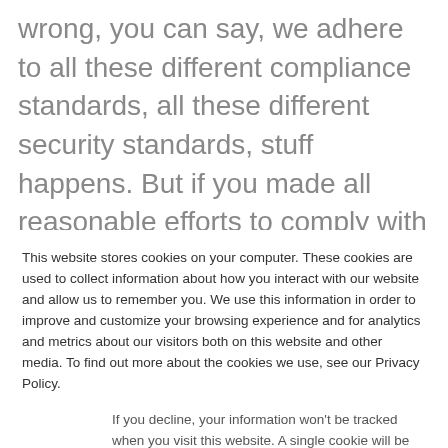wrong, you can say, we adhere to all these different compliance standards, all these different security standards, stuff happens. But if you made all reasonable efforts to comply with security regulations with best practices, then you can say, Yes, we made, you know, our best good faith efforts, we've complying with
This website stores cookies on your computer. These cookies are used to collect information about how you interact with our website and allow us to remember you. We use this information in order to improve and customize your browsing experience and for analytics and metrics about our visitors both on this website and other media. To find out more about the cookies we use, see our Privacy Policy.
If you decline, your information won't be tracked when you visit this website. A single cookie will be used in your browser to remember your preference not to be tracked.